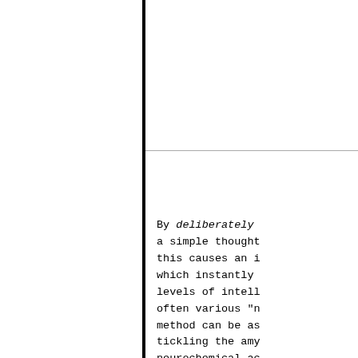By deliberately a simple thought this causes an i which instantly levels of intell often various "n method can be as tickling the amy neurochemical ac "dormant" fronta a gateway click switch on your w on the big light